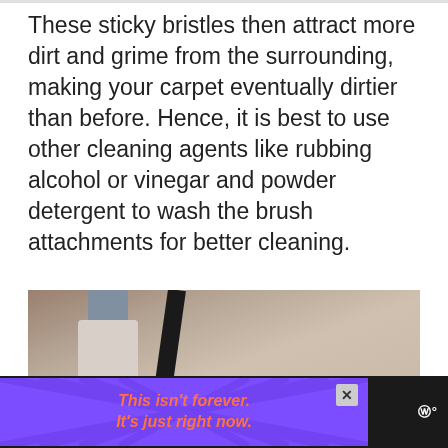These sticky bristles then attract more dirt and grime from the surrounding, making your carpet eventually dirtier than before. Hence, it is best to use other cleaning agents like rubbing alcohol or vinegar and powder detergent to wash the brush attachments for better cleaning.
[Figure (photo): Photo of a person vacuuming a carpet, showing the vacuum cleaner attachment near the floor with a person's legs visible in the background on a light-colored carpet.]
[Figure (other): Advertisement banner with purple background and diagonal ray pattern, orange italic bold text reading 'This isn't forever. It's just right now.' with a close button (x) and a Walmart logo icon on the right, on a black bar.]